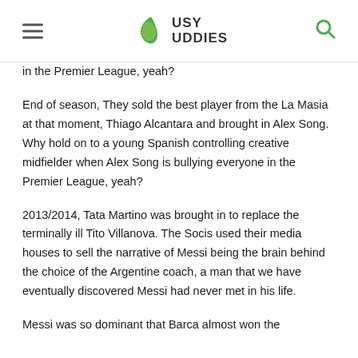Busy Buddies
in the Premier League, yeah?
End of season, They sold the best player from the La Masia at that moment, Thiago Alcantara and brought in Alex Song. Why hold on to a young Spanish controlling creative midfielder when Alex Song is bullying everyone in the Premier League, yeah?
2013/2014, Tata Martino was brought in to replace the terminally ill Tito Villanova. The Socis used their media houses to sell the narrative of Messi being the brain behind the choice of the Argentine coach, a man that we have eventually discovered Messi had never met in his life.
Messi was so dominant that Barca almost won the